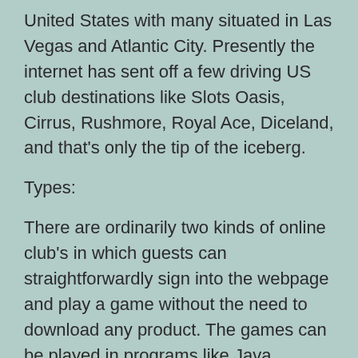United States with many situated in Las Vegas and Atlantic City. Presently the internet has sent off a few driving US club destinations like Slots Oasis, Cirrus, Rushmore, Royal Ace, Diceland, and that's only the tip of the iceberg.
Types:
There are ordinarily two kinds of online club's in which guests can straightforwardly sign into the webpage and play a game without the need to download any product. The games can be played in programs like Java, Macromedia streak and shockwave. Moreover, it requires